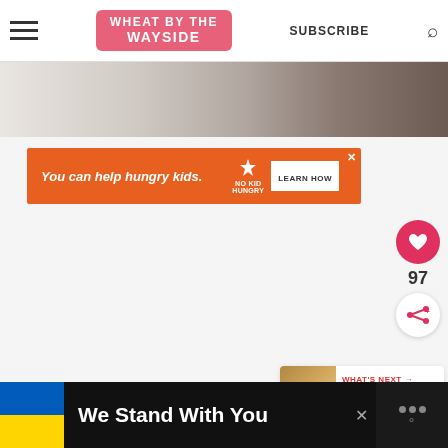Wheat by the Wayside — SUBSCRIBE
[Figure (photo): Partial hero image strip, black and white/grayscale photo showing hands or kitchen surface]
[Figure (infographic): Orange ad banner: 'You can help hungry kids. NO KID HUNGRY. LEARN HOW']
[Figure (infographic): Pink heart like button showing count 97, and a white share button]
[Figure (infographic): What's Next panel with cookie image — Gluten-Free Pumpkin...]
[Figure (infographic): Bottom black banner with Ukraine flag and text 'We Stand With You', close button, and logo]